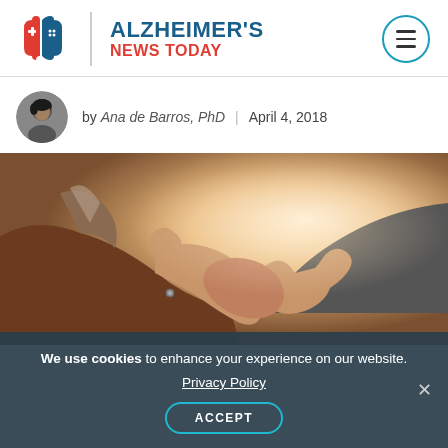[Figure (logo): Alzheimer's News Today logo with puzzle-piece brain icon in red and blue, vertical divider, and site name in two lines: ALZHEIMER'S (dark blue) and NEWS TODAY (red)]
by Ana de Barros, PhD | April 4, 2018
[Figure (photo): Close-up photo of two people shaking hands, one wearing a brown suit jacket, warm backlit lighting]
We use cookies to enhance your experience on our website.
Privacy Policy
ACCEPT